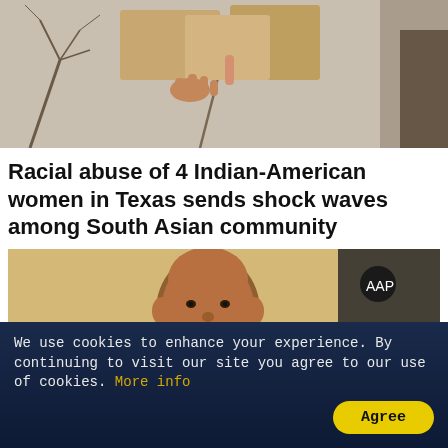[Figure (photo): A hand holding up brown cardboard signs outdoors with bare trees in the background. A protest scene.]
Racial abuse of 4 Indian-American women in Texas sends shock waves among South Asian community
[Figure (photo): A bald Indian man in a red shirt speaking into a microphone and gesturing with his right hand, with a dark logo/banner visible in the background.]
We use cookies to enhance your experience. By continuing to visit our site you agree to our use of cookies. More info
Agree